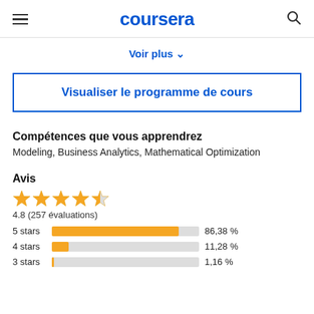coursera
Voir plus
Visualiser le programme de cours
Compétences que vous apprendrez
Modeling, Business Analytics, Mathematical Optimization
Avis
4.8 (257 évaluations)
[Figure (bar-chart): Star ratings]